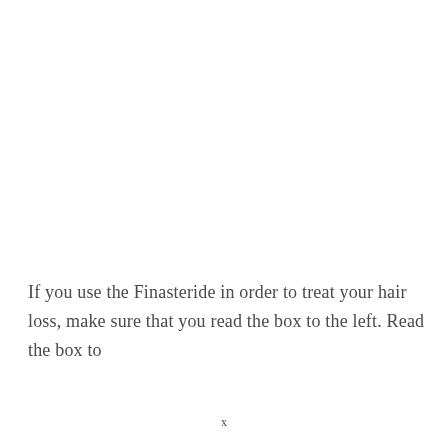If you use the Finasteride in order to treat your hair loss, make sure that you read the box to the left. Read the box to
x